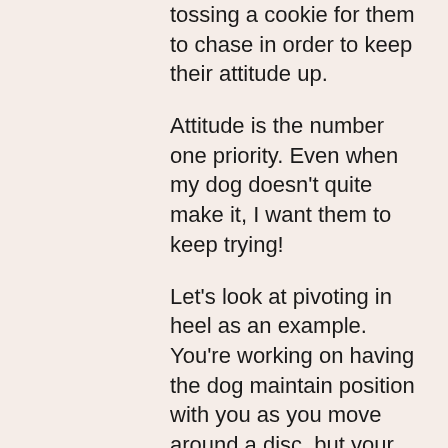tossing a cookie for them to chase in order to keep their attitude up.
Attitude is the number one priority. Even when my dog doesn't quite make it, I want them to keep trying!
Let's look at pivoting in heel as an example.  You're working on having the dog maintain position with you as you move around a disc, but your dog stops moving slightly early and ends up with their butt too far out.  At that point I immediately talk to the dog- So close!  Remember, I don't want the dog in the future thinking that my silence after a pivot means he should try to fix something and keep rotating back and forth!